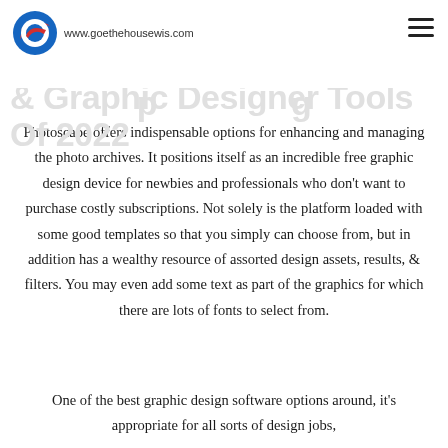Introducing One Of The Best Web & Graphic Designer Tools Of 2022 — www.goethehousewis.com
Photoscape offers indispensable options for enhancing and managing the photo archives. It positions itself as an incredible free graphic design device for newbies and professionals who don't want to purchase costly subscriptions. Not solely is the platform loaded with some good templates so that you simply can choose from, but in addition has a wealthy resource of assorted design assets, results, & filters. You may even add some text as part of the graphics for which there are lots of fonts to select from.
One of the best graphic design software options around, it's appropriate for all sorts of design jobs,